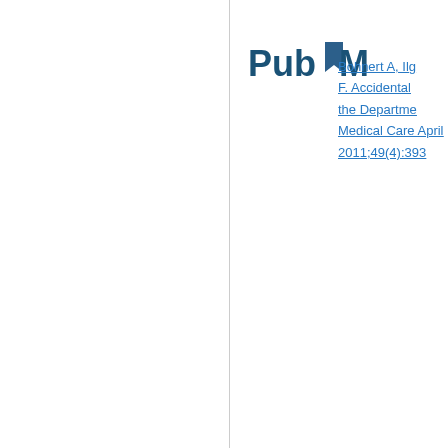[Figure (logo): PubMed logo with stylized bookmark icon]
Bohnert A, Ilg... F. Accidental... the Departme... Medical Care April 2011;49(4):393...
What are HSR&D Publica...
HSR&D requires notification by H... articles are reviewed by HSR&D a... are then forwarded to VHA Centra... Articles to be summarized are sel... potential impact on the organizati... articles. Visit the HSR&D citations...